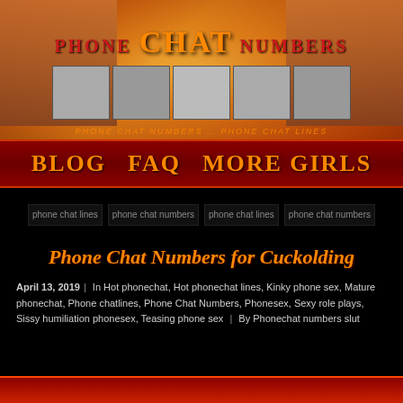[Figure (illustration): Website header banner for 'Phone Chat Numbers' adult site with orange/red gradient background, showing women on left and right sides, and a strip of grayscale thumbnail photos in the middle. Text reads PHONE CHAT NUMBERS in stylized fonts.]
BLOG  FAQ  MORE GIRLS
[Figure (illustration): Four broken image placeholders labeled: phone chat lines, phone chat numbers, phone chat lines, phone chat numbers]
Phone Chat Numbers for Cuckolding
April 13, 2019 | In Hot phonechat, Hot phonechat lines, Kinky phone sex, Mature phonechat, Phone chatlines, Phone Chat Numbers, Phonesex, Sexy role plays, Sissy humiliation phonesex, Teasing phone sex | By Phonechat numbers slut